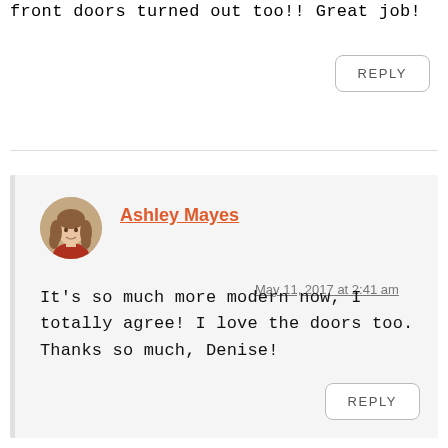front doors turned out too!! Great job!
REPLY
Ashley Mayes
May 11, 2017 at 2:41 am
It's so much more modern now, I totally agree! I love the doors too. Thanks so much, Denise!
REPLY